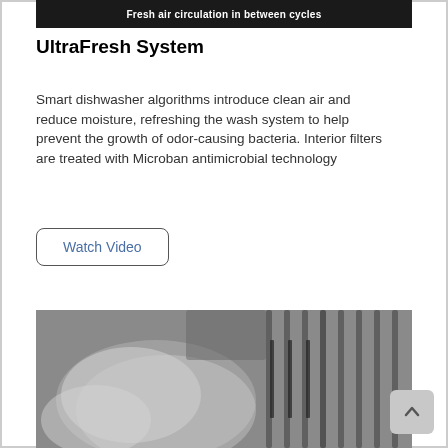[Figure (screenshot): Dark banner with white bold text reading 'Fresh air circulation in between cycles' with strikethrough-style rendering on dark background]
UltraFresh System
Smart dishwasher algorithms introduce clean air and reduce moisture, refreshing the wash system to help prevent the growth of odor-causing bacteria. Interior filters are treated with Microban antimicrobial technology
Watch Video
[Figure (photo): Black and white photo of dishwasher interior showing dishes and bowls being washed]